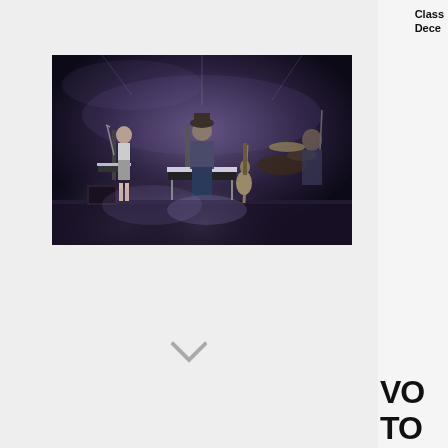Class
Dece
[Figure (photo): Concert stage photo showing musicians performing in dark moody lighting. A woman stands at a keyboard on the left, a man wearing a hat plays at a keyboard/synthesizer in the center, and another musician is visible on the right near a drum kit. A guitar leans against a stand in the right foreground.]
[Figure (other): Chevron / down arrow icon in gray]
VO
TO